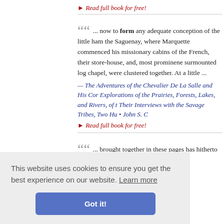▸ Read full book for free!
"... now to form any adequate conception of the little ham the Saguenay, where Marquette commenced his missionary cabins of the French, their store-house, and, most prominent surmounted log chapel, were clustered together. At a little ...
— The Adventures of the Chevalier De La Salle and His Con Explorations of the Prairies, Forests, Lakes, and Rivers, of t Their Interviews with the Savage Tribes, Two Hu • John S. C
▸ Read full book for free!
"... brought together in these pages has hitherto appeared ... est of spe popular form ... y these un s back to a nusic appe Alice C. Fle
This website uses cookies to ensure you get the best experience on our website. Learn more
Got it!